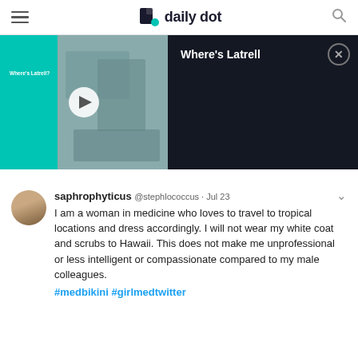daily dot
[Figure (screenshot): Video player thumbnail showing 'Where's Latrell' with a teal/cyan background and a medical/surgical scene thumbnail with a play button. The right side shows a dark panel with title 'Where's Latrell' and a close button.]
saphrophyticus @stephlococcus · Jul 23
I am a woman in medicine who loves to travel to tropical locations and dress accordingly. I will not wear my white coat and scrubs to Hawaii. This does not make me unprofessional or less intelligent or compassionate compared to my male colleagues.
#medbikini #girlmedtwitter